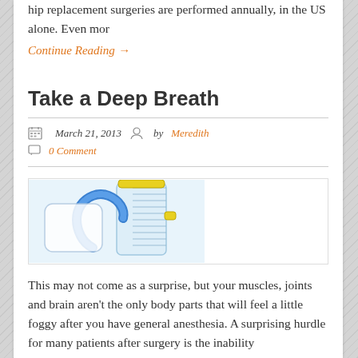hip replacement surgeries are performed annually, in the US alone. Even mor
Continue Reading →
Take a Deep Breath
March 21, 2013  by Meredith  0 Comment
[Figure (photo): Medical breathing device with blue corrugated tube and clear plastic spirometer container]
This may not come as a surprise, but your muscles, joints and brain aren't the only body parts that will feel a little foggy after you have general anesthesia. A surprising hurdle for many patients after surgery is the inability